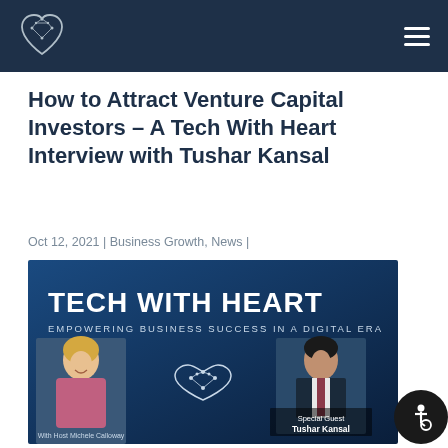Tech With Heart — navigation header with logo and hamburger menu
How to Attract Venture Capital Investors – A Tech With Heart Interview with Tushar Kansal
Oct 12, 2021 | Business Growth, News |
[Figure (photo): Tech With Heart podcast banner image showing host Michele Calloway and special guest Tushar Kansal with a heart/network logo. Text reads: TECH WITH HEART — EMPOWERING BUSINESS SUCCESS IN A DIGITAL ERA]